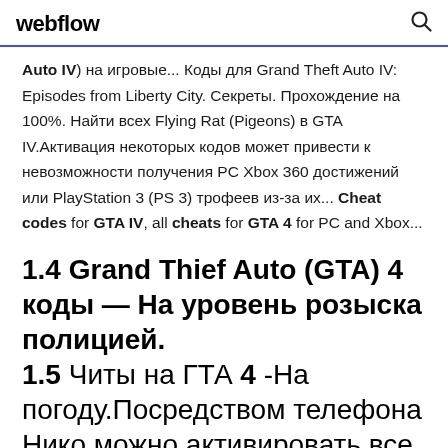webflow
Auto IV) на игровые... Коды для Grand Theft Auto IV: Episodes from Liberty City. Секреты. Прохождение на 100%. Найти всех Flying Rat (Pigeons) в GTA IV.Активация некоторых кодов может привести к невозможности получения PC Xbox 360 достижений или PlayStation 3 (PS 3) трофеев из-за их... Cheat codes for GTA IV, all cheats for GTA 4 for PC and Xbox...
1.4 Grand Thief Auto (GTA) 4 коды — На уровень розыска полицией. 1.5 Читы на ГТА 4 -На погоду.Посредством телефона Нико можно активировать все